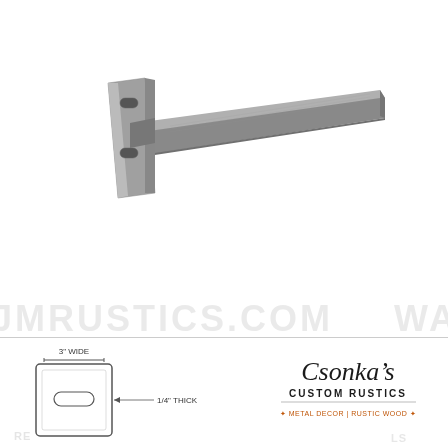[Figure (photo): A metal shelf bracket / floating shelf support made of raw steel. The bracket has a flat mounting plate on the left with two oval/slot mounting holes (top and bottom), and a horizontal arm extending to the right that tapers slightly. The arm is 3 inches wide and 1/4 inch thick. The steel is raw/unfinished gray metal.]
[Figure (engineering-diagram): Cross-section/end-view diagram of the shelf bracket showing '3" WIDE' dimension with bracket lines above, and '1/4" THICK' dimension label with arrow to the side. Shows the rectangular profile of the bracket arm with a slot/hole in the mounting plate.]
[Figure (logo): Csonka's Custom Rustics logo. Italic script 'Csonka's' on top, then 'CUSTOM RUSTICS' in bold caps, divider line, and tagline 'METAL DECOR | RUSTIC WOOD' in small caps with small flame/leaf icons.]